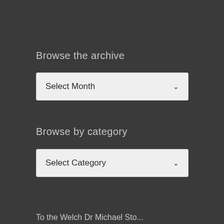Browse the archive
[Figure (screenshot): Dropdown selector labeled 'Select Month' with a chevron arrow on the right, on a light grey background]
Browse by category
[Figure (screenshot): Dropdown selector labeled 'Select Category' with a chevron arrow on the right, on a light grey background]
To the Welch Dr Michael Sto...